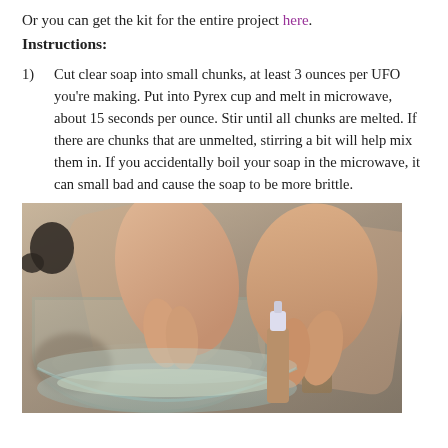Or you can get the kit for the entire project here.
Instructions:
1) Cut clear soap into small chunks, at least 3 ounces per UFO you're making. Put into Pyrex cup and melt in microwave, about 15 seconds per ounce. Stir until all chunks are melted. If there are chunks that are unmelted, stirring a bit will help mix them in. If you accidentally boil your soap in the microwave, it can small bad and cause the soap to be more brittle.
[Figure (photo): Hands stirring or mixing liquid soap in a glass Pyrex measuring cup with a small bottle being added]